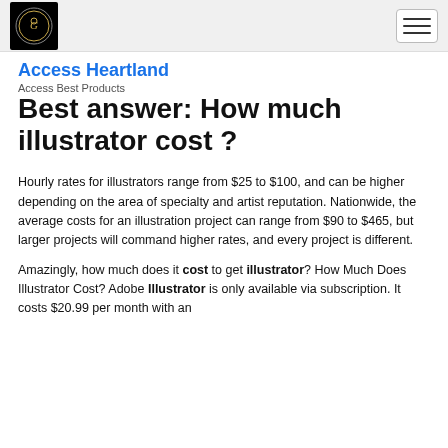Access Heartland
Access Best Products
Best answer: How much illustrator cost ?
Hourly rates for illustrators range from $25 to $100, and can be higher depending on the area of specialty and artist reputation. Nationwide, the average costs for an illustration project can range from $90 to $465, but larger projects will command higher rates, and every project is different.
Amazingly, how much does it cost to get illustrator? How Much Does Illustrator Cost? Adobe Illustrator is only available via subscription. It costs $20.99 per month with an